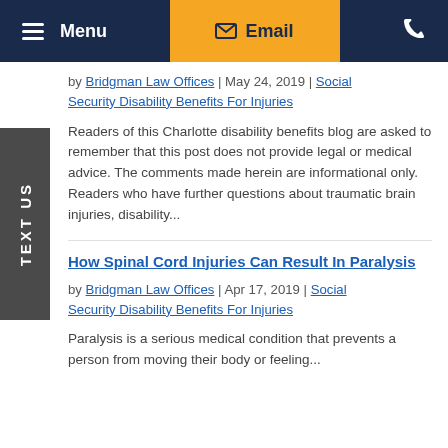Menu | Email | [phone icon]
by Bridgman Law Offices | May 24, 2019 | Social Security Disability Benefits For Injuries
Readers of this Charlotte disability benefits blog are asked to remember that this post does not provide legal or medical advice. The comments made herein are informational only. Readers who have further questions about traumatic brain injuries, disability...
How Spinal Cord Injuries Can Result In Paralysis
by Bridgman Law Offices | Apr 17, 2019 | Social Security Disability Benefits For Injuries
Paralysis is a serious medical condition that prevents a person from moving their body or feeling...